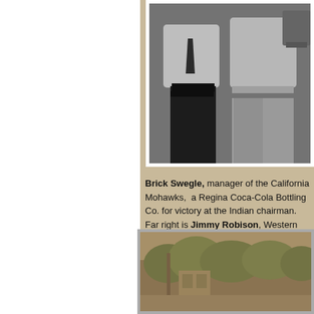[Figure (photo): Black and white photograph of two men standing together, one in a dark suit on the left and one in lighter clothing on the right holding a trophy or award]
Brick Swegle, manager of the California Mohawks, a Regina Coca-Cola Bottling Co. for victory at the Indian chairman. Far right is Jimmy Robison, Western Cana
[Figure (photo): Sepia-toned photograph showing outdoor scene with trees and a building or structure in the background]